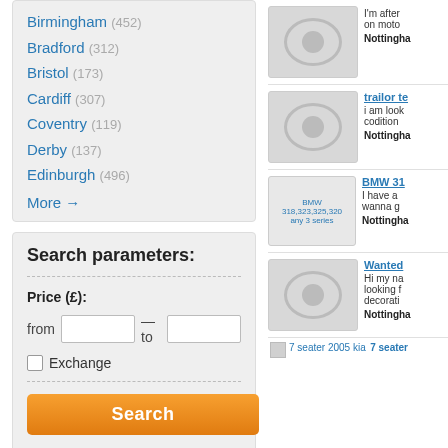Birmingham (452)
Bradford (312)
Bristol (173)
Cardiff (307)
Coventry (119)
Derby (137)
Edinburgh (496)
More →
Search parameters:
Price (£):
from — to
Exchange
Search
[Figure (photo): Placeholder image with camera icon]
I'm after on moto
Nottingha
trailor te
[Figure (photo): Placeholder image with camera icon]
i am look codition
Nottingha
[Figure (photo): BMW 318,323,325,320 any 3 series listing image]
BMW 318,323,325,320 any 3 series
BMW 31
I have a wanna g
Nottingha
Wanted
[Figure (photo): Placeholder image with camera icon]
Hi my na looking f decorati
Nottingha
7 seater 2005 kia
7 seater